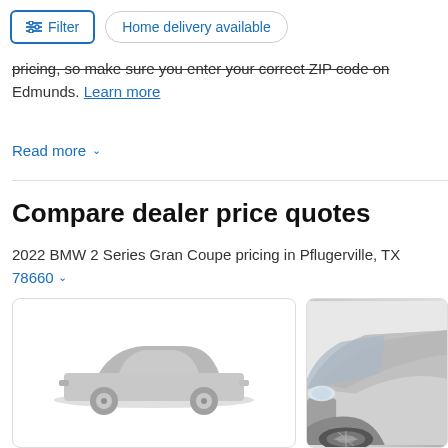Filter | Home delivery available
pricing, so make sure you enter your correct ZIP code on Edmunds. Learn more
Read more
Compare dealer price quotes
2022 BMW 2 Series Gran Coupe pricing in Pflugerville, TX 78660
[Figure (photo): Gray silhouette placeholder of a BMW sedan car]
[Figure (photo): Partial photo of a silver BMW sedan from front angle]